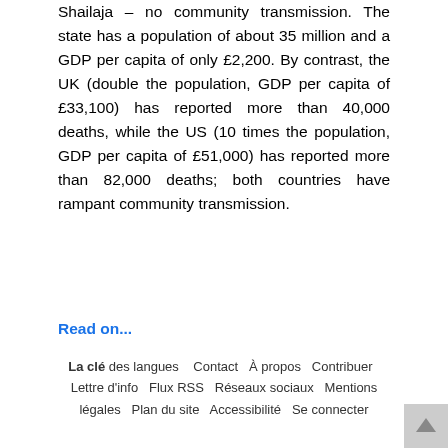Shailaja – no community transmission. The state has a population of about 35 million and a GDP per capita of only £2,200. By contrast, the UK (double the population, GDP per capita of £33,100) has reported more than 40,000 deaths, while the US (10 times the population, GDP per capita of £51,000) has reported more than 82,000 deaths; both countries have rampant community transmission.
Read on...
La clé des langues   Contact   À propos   Contribuer   Lettre d'info   Flux RSS   Réseaux sociaux   Mentions légales   Plan du site   Accessibilité   Se connecter